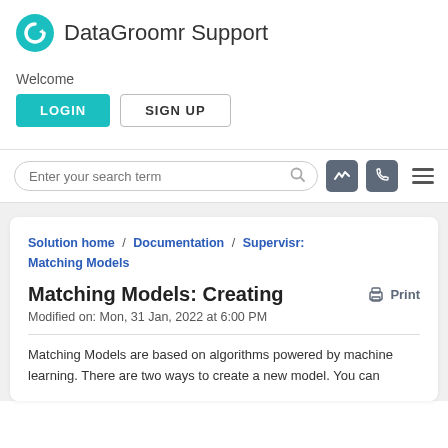DataGroomr Support
Welcome
LOGIN   SIGN UP
Enter your search term
Solution home / Documentation / Supervisr: Matching Models
Matching Models: Creating
Modified on: Mon, 31 Jan, 2022 at 6:00 PM
Matching Models are based on algorithms powered by machine learning. There are two ways to create a new model. You can